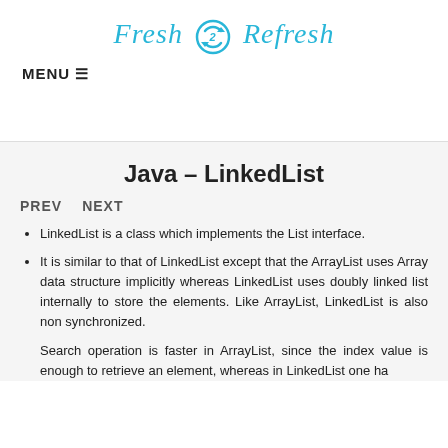[Figure (logo): Fresh 2 Refresh logo with cyan/blue script text and circular arrow icon]
MENU ☰
Java – LinkedList
PREV   NEXT
LinkedList is a class which implements the List interface.
It is similar to that of LinkedList except that the ArrayList uses Array data structure implicitly whereas LinkedList uses doubly linked list internally to store the elements. Like ArrayList, LinkedList is also non synchronized.
Search operation is faster in ArrayList, since the index value is enough to retrieve an element, whereas in LinkedList one has...